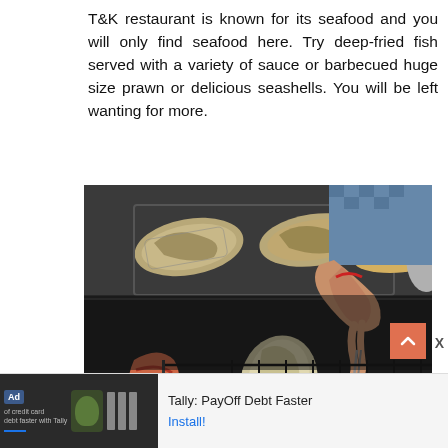T&K restaurant is known for its seafood and you will only find seafood here. Try deep-fried fish served with a variety of sauce or barbecued huge size prawn or delicious seashells. You will be left wanting for more.
[Figure (photo): A person grilling seafood on a charcoal grill — fish coated in salt, oysters with sauce, and other seafood on a wire grate over glowing charcoals. A bowl of yellow sauce is visible in the upper right corner.]
Ad  of credit card debt faster with Tally  |||  Tally: PayOff Debt Faster   Install!